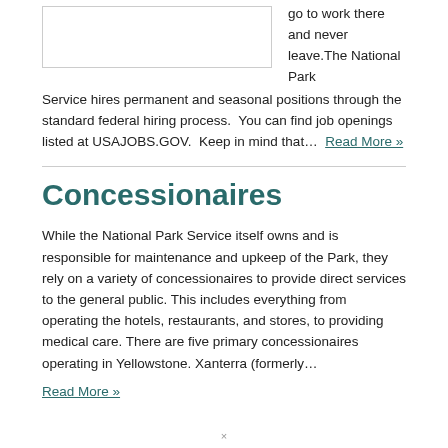[Figure (photo): Image placeholder box in upper left]
go to work there and never leave.The National Park Service hires permanent and seasonal positions through the standard federal hiring process.  You can find job openings listed at USAJOBS.GOV.  Keep in mind that… Read More »
Concessionaires
While the National Park Service itself owns and is responsible for maintenance and upkeep of the Park, they rely on a variety of concessionaires to provide direct services to the general public. This includes everything from operating the hotels, restaurants, and stores, to providing medical care. There are five primary concessionaires operating in Yellowstone. Xanterra (formerly…
Read More »
×